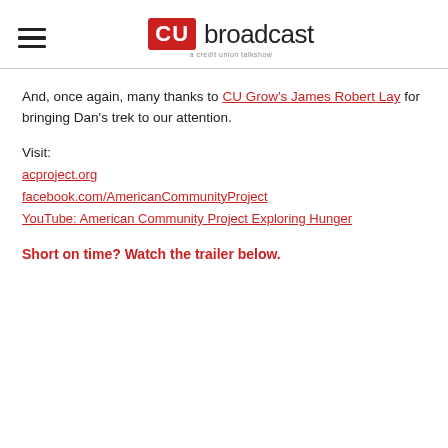CU broadcast — a credit union talkshow
And, once again, many thanks to CU Grow's James Robert Lay for bringing Dan's trek to our attention.
Visit:
acproject.org
facebook.com/AmericanCommunityProject
YouTube: American Community Project Exploring Hunger
Short on time? Watch the trailer below.